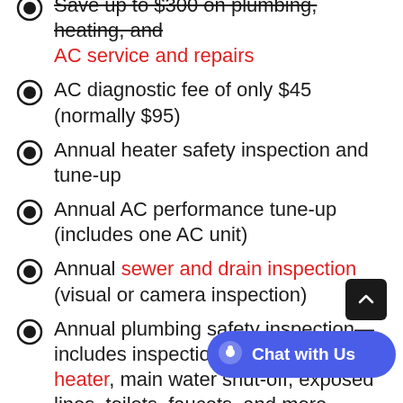Save up to $300 on plumbing, heating, and AC service and repairs
AC diagnostic fee of only $45 (normally $95)
Annual heater safety inspection and tune-up
Annual AC performance tune-up (includes one AC unit)
Annual sewer and drain inspection (visual or camera inspection)
Annual plumbing safety inspection—includes inspection of your water heater, main water shut-off, exposed lines, toilets, faucets, and more